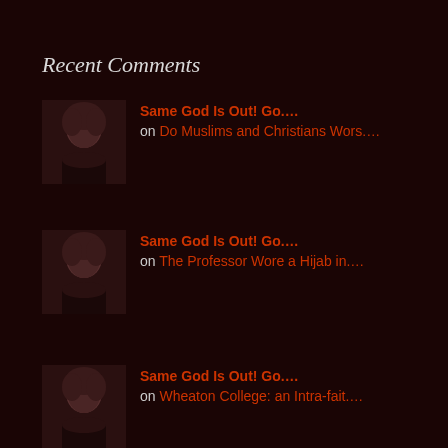Recent Comments
Same God Is Out! Go.… on Do Muslims and Christians Wors.…
Same God Is Out! Go.… on The Professor Wore a Hijab in.…
Same God Is Out! Go.… on Wheaton College: an Intra-fait.…
Grace in 'The.… on Should the Atheist Pastor Be D.…
ceorlowski on